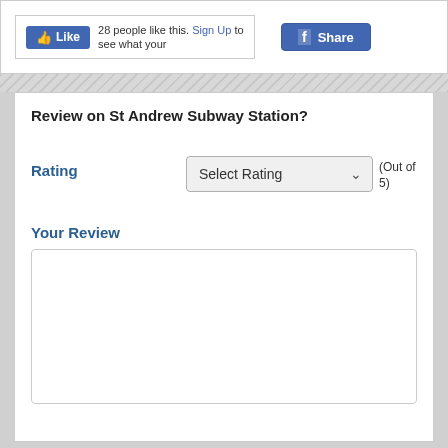[Figure (screenshot): Facebook Like button showing '28 people like this. Sign Up to see what your' and a Facebook Share button]
Review on St Andrew Subway Station?
Rating
Select Rating (Out of 5)
Your Review